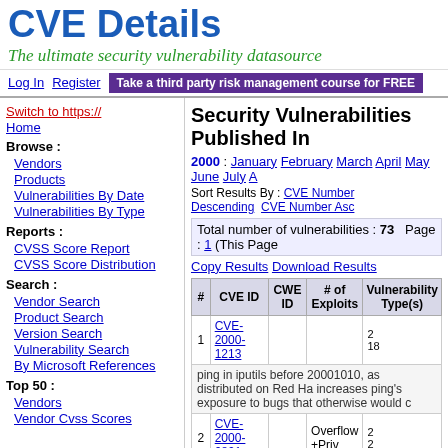CVE Details
The ultimate security vulnerability datasource
Log In   Register   Take a third party risk management course for FREE
Switch to https://
Home
Browse :
Vendors
Products
Vulnerabilities By Date
Vulnerabilities By Type
Reports :
CVSS Score Report
CVSS Score Distribution
Search :
Vendor Search
Product Search
Version Search
Vulnerability Search
By Microsoft References
Top 50 :
Vendors
Vendor Cvss Scores
Security Vulnerabilities Published In
2000 : January February March April May June July A
Sort Results By : CVE Number Descending  CVE Number Asc
Total number of vulnerabilities : 73   Page : 1 (This Page
Copy Results Download Results
| # | CVE ID | CWE ID | # of Exploits | Vulnerability Type(s) |
| --- | --- | --- | --- | --- |
| 1 | CVE-2000-1213 |  |  |  |
|  | ping in iputils before 20001010, as distributed on Red Ha increases ping's exposure to bugs that otherwise would |  |  |  |
| 2 | CVE-2000-0801 |  | Overflow +Priv |  |
|  | Buffer overflow in bdf program in HP-UX 11.00 may allow |  |  |  |
| 3 | CVE-2000-0800 |  | +Priv |  |